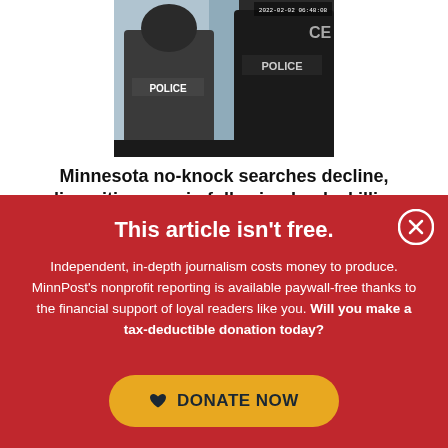[Figure (photo): Body camera footage showing two police officers from behind, with 'POLICE' text visible on their jackets. Timestamp visible in upper right corner.]
Minnesota no-knock searches decline, disparities remain following Locke killing
This article isn't free.
Independent, in-depth journalism costs money to produce. MinnPost's nonprofit reporting is available paywall-free thanks to the financial support of loyal readers like you. Will you make a tax-deductible donation today?
DONATE NOW